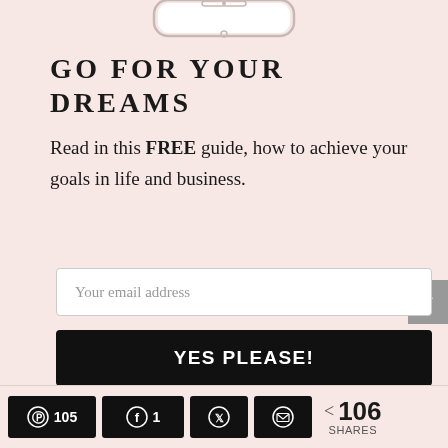[Figure (illustration): Top portion of a smartphone/iPhone shown at the top of the page]
GO FOR YOUR DREAMS
Read in this FREE guide, how to achieve your goals in life and business.
[Figure (other): Email address input field with placeholder text 'Your email address']
[Figure (other): Black button with text 'YES PLEASE!']
105  1  106 SHARES